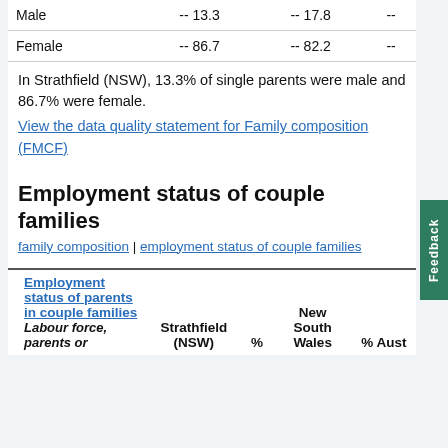|  | Strathfield (NSW) | % | New South Wales | % Aust |
| --- | --- | --- | --- | --- |
| Male | -- | 13.3 | -- | 17.8 | -- |
| Female | -- | 86.7 | -- | 82.2 | -- |
In Strathfield (NSW), 13.3% of single parents were male and 86.7% were female.
View the data quality statement for Family composition (FMCF)
Employment status of couple families
family composition | employment status of couple families
| Employment status of parents in couple families | Strathfield (NSW) | % | New South Wales | % Aust |
| --- | --- | --- | --- | --- |
| Labour force, parents or |  |  |  |  |